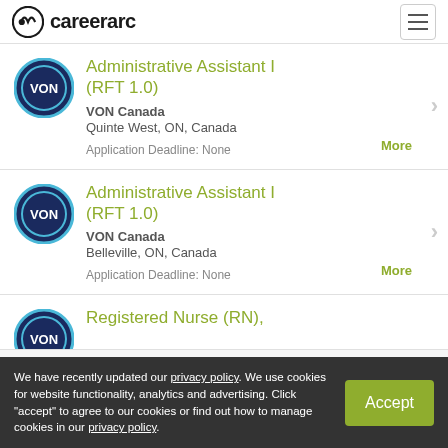careerarc
Administrative Assistant I (RFT 1.0) — VON Canada, Quinte West, ON, Canada. Application Deadline: None
Administrative Assistant I (RFT 1.0) — VON Canada, Belleville, ON, Canada. Application Deadline: None
Registered Nurse (RN),
We have recently updated our privacy policy. We use cookies for website functionality, analytics and advertising. Click "accept" to agree to our cookies or find out how to manage cookies in our privacy policy.